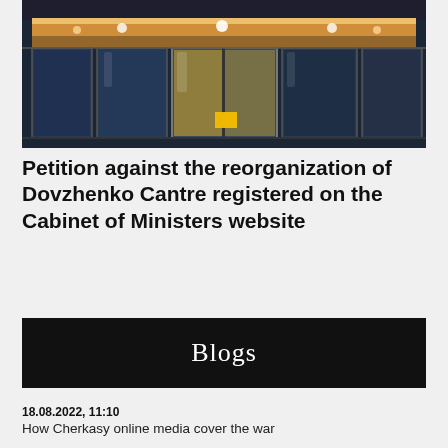[Figure (photo): Exterior of a building with glass doors and illuminated interior at night, shown cropped at the top of the page]
Petition against the reorganization of Dovzhenko Cantre registered on the Cabinet of Ministers website
Blogs
18.08.2022, 11:10
How Cherkasy online media cover the war
12.08.2022, 12:47
Region "surrendered" to Hungary, Hungary paying extra to soldiers – russian propaganda fakes recorded in Zakarpattia